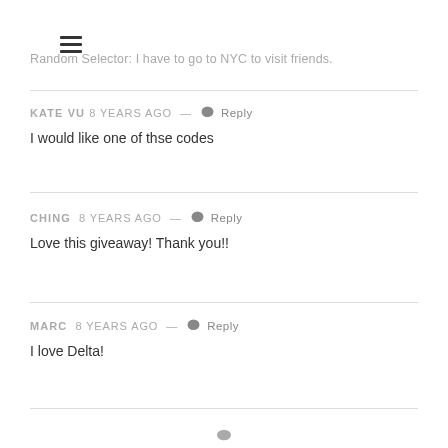Random Selector: I have to go to NYC to visit friends.
KATE VU 8 years ago — Reply
I would like one of thse codes
CHING 8 years ago — Reply
Love this giveaway! Thank you!!
MARC 8 years ago — Reply
I love Delta!